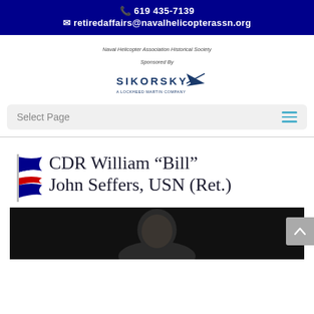📞 619 435-7139
✉ retiredaffairs@navalhelicopterassn.org
Naval Helicopter Association Historical Society
Sponsored By
[Figure (logo): Sikorsky logo with stylized arrow/aircraft graphic and text 'SIKORSKY / A LOCKHEED MARTIN COMPANY']
Select Page
CDR William "Bill" John Seffers, USN (Ret.)
[Figure (photo): Portrait photo of CDR William Bill John Seffers, dark background, person wearing dark clothing, partially cropped at bottom of page]